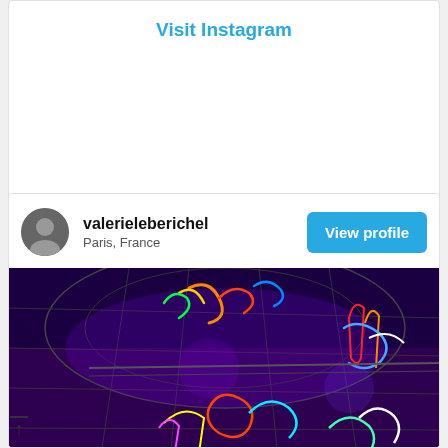Visit Instagram
valerieleberichel
Paris, France
View profile
[Figure (photo): Instagram post showing neon light art installations inside a circular steel mesh structure, photographed from below with a wide-angle lens against a purple-lit background. Multiple colorful neon sculptures are visible.]